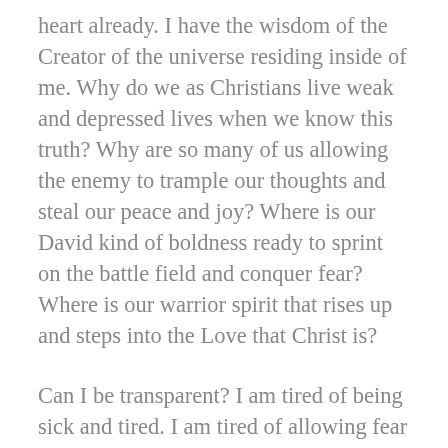heart already. I have the wisdom of the Creator of the universe residing inside of me. Why do we as Christians live weak and depressed lives when we know this truth? Why are so many of us allowing the enemy to trample our thoughts and steal our peace and joy? Where is our David kind of boldness ready to sprint on the battle field and conquer fear? Where is our warrior spirit that rises up and steps into the Love that Christ is?
Can I be transparent? I am tired of being sick and tired. I am tired of allowing fear to win. I am tired of waking up every day and remembering how life used to be or allowing a desire to enter my heart of what I think I need, want or deserve and my life reflects zero of